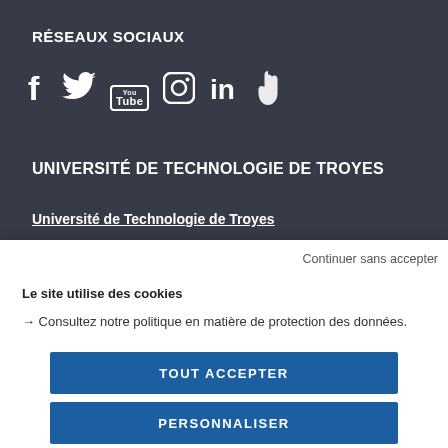RÉSEAUX SOCIAUX
[Figure (infographic): Social media icons: Facebook, Twitter, YouTube, Instagram, LinkedIn, and a hand/pointer icon, all white on dark background]
UNIVERSITÉ DE TECHNOLOGIE DE TROYES
Université de Technologie de Troyes
Continuer sans accepter
Le site utilise des cookies
→ Consultez notre politique en matière de protection des données.
TOUT ACCEPTER
PERSONNALISER